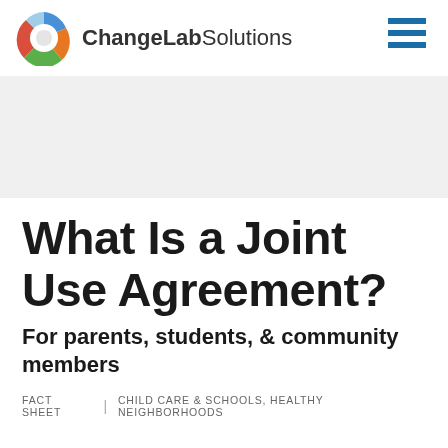ChangeLab Solutions
[Figure (logo): ChangeLab Solutions circular logo with blue, orange, green, and red segments, alongside text 'ChangeLab Solutions']
What Is a Joint Use Agreement?
For parents, students, & community members
FACT SHEET | CHILD CARE & SCHOOLS, HEALTHY NEIGHBORHOODS